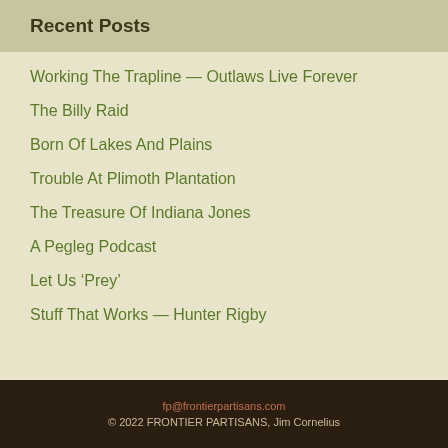Recent Posts
Working The Trapline — Outlaws Live Forever
The Billy Raid
Born Of Lakes And Plains
Trouble At Plimoth Plantation
The Treasure Of Indiana Jones
A Pegleg Podcast
Let Us ‘Prey’
Stuff That Works — Hunter Rigby
fp@frontierpartisans.com
© 2022 FRONTIER PARTISANS, Jim Cornelius